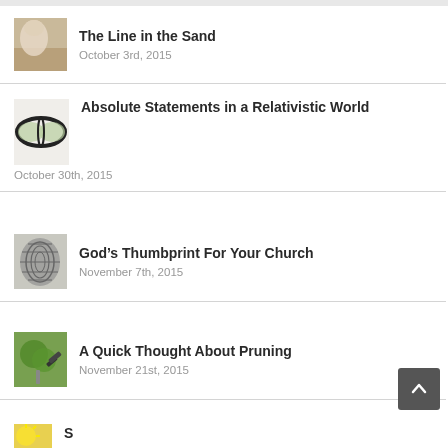The Line in the Sand
October 3rd, 2015
Absolute Statements in a Relativistic World
October 30th, 2015
God’s Thumbprint For Your Church
November 7th, 2015
A Quick Thought About Pruning
November 21st, 2015
S...